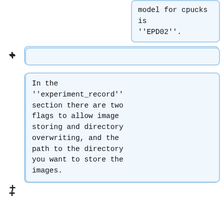model for cpucks is ''EPD02''.
In the ''experiment_record'' section there are two flags to allow image storing and directory overwriting, and the path to the directory you want to store the images.
'''WARNING:''' remember to create the directory you are going to save the results in before running the experiment.